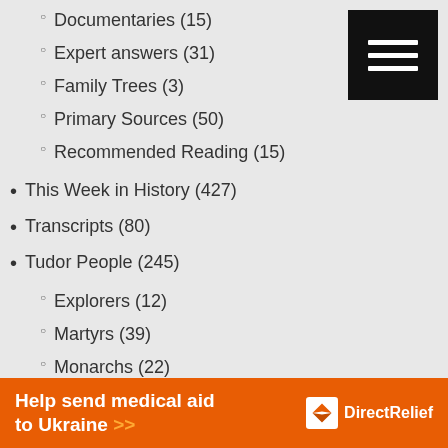Documentaries (15)
Expert answers (31)
Family Trees (3)
Primary Sources (50)
Recommended Reading (15)
This Week in History (427)
Transcripts (80)
Tudor People (245)
Explorers (12)
Martyrs (39)
Monarchs (22)
Six Wives (14)
The King's Men (36)
The Queen's Men (12)
Tudor and Renaissance Artists and Composers (8)
Tudor Churchmen (15)
Tudor Men (67)
Help send medical aid to Ukraine >> Direct Relief